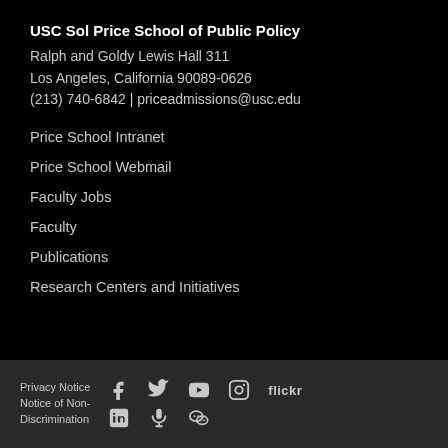USC Sol Price School of Public Policy
Ralph and Goldy Lewis Hall 311
Los Angeles, California 90089-0626
(213) 740-6842 | priceadmissions@usc.edu
Price School Intranet
Price School Webmail
Faculty Jobs
Faculty
Publications
Research Centers and Initiatives
Privacy Notice  Notice of Non-Discrimination  [Facebook] [Twitter] [YouTube] [Instagram] flickr [LinkedIn] [Podcast] [WeChat]